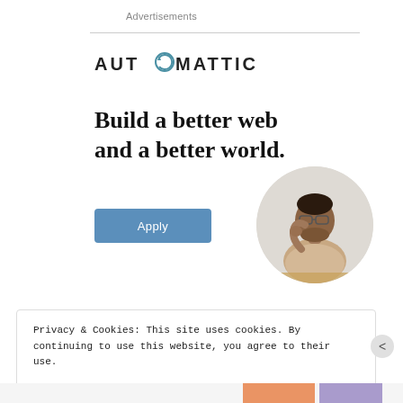Advertisements
[Figure (logo): Automattic logo in uppercase sans-serif letters with a circular arrow icon replacing the letter O]
Build a better web and a better world.
[Figure (photo): A Black man in a beige t-shirt sitting at a desk, looking upward thoughtfully with hand near chin, in a circular crop]
Apply
Privacy & Cookies: This site uses cookies. By continuing to use this website, you agree to their use.
To find out more, including how to control cookies, see here: Cookie Policy
Close and accept